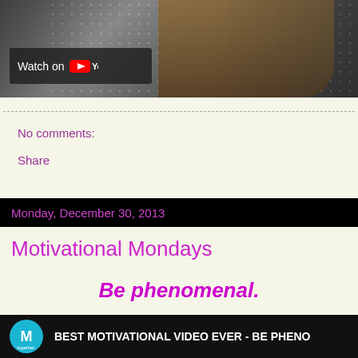[Figure (screenshot): YouTube embedded video thumbnail showing a woman in a polka dot dress with a 'Watch on YouTube' badge overlay]
No comments:
Share
Monday, December 30, 2013
Motivational Mondays
Be phenomenal.
[Figure (screenshot): YouTube video thumbnail showing 'BEST MOTIVATIONAL VIDEO EVER - BE PHENO...' with a blue circular 'M together' logo]